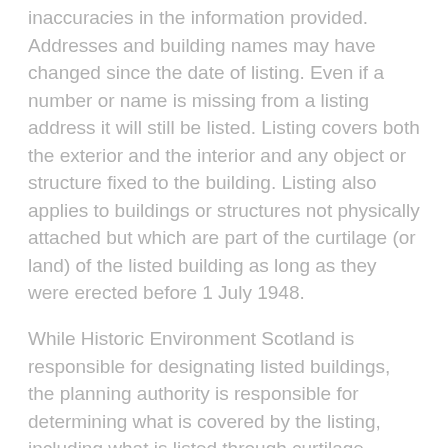inaccuracies in the information provided. Addresses and building names may have changed since the date of listing. Even if a number or name is missing from a listing address it will still be listed. Listing covers both the exterior and the interior and any object or structure fixed to the building. Listing also applies to buildings or structures not physically attached but which are part of the curtilage (or land) of the listed building as long as they were erected before 1 July 1948.
While Historic Environment Scotland is responsible for designating listed buildings, the planning authority is responsible for determining what is covered by the listing, including what is listed through curtilage. However, for listed buildings designated or for listings amended from 1 October 2015, legal exclusions to the listing may apply.